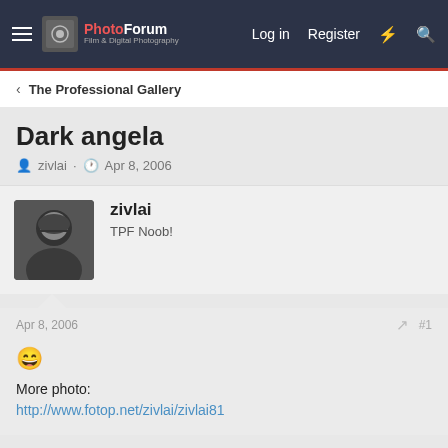ThePhotoForum - Log in - Register
The Professional Gallery
Dark angela
zivlai · Apr 8, 2006
zivlai
TPF Noob!
Apr 8, 2006 #1
More photo:
http://www.fotop.net/zivlai/zivlai81